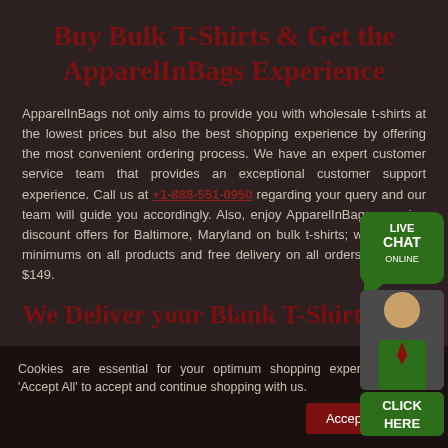Buy Bulk T-Shirts & Get the ApparelInBags Experience
ApparelInBags not only aims to provide you with wholesale t-shirts at the lowest prices but also the best shopping experience by offering the most convenient ordering process. We have an expert customer service team that provides an exceptional customer support experience. Call us at +1-888-551-0950 regarding your query and our team will guide you accordingly. Also, enjoy ApparelInBags amazing discount offers for Baltimore, Maryland on bulk t-shirts; we offer low minimums on all products and free delivery on all orders exceeding $149.
We Deliver your Blank T-Shirts
Cookies are essential for your optimum shopping experience. Click 'Accept All' to accept and continue shopping with us.